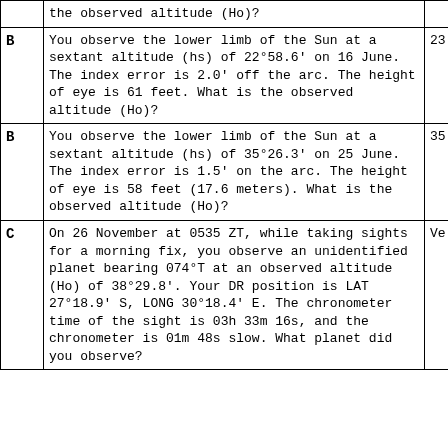|  | Question | Answer |
| --- | --- | --- |
|  | the observed altitude (Ho)? |  |
| B | You observe the lower limb of the Sun at a sextant altitude (hs) of 22°58.6' on 16 June. The index error is 2.0' off the arc. The height of eye is 61 feet. What is the observed altitude (Ho)? | 23 |
| B | You observe the lower limb of the Sun at a sextant altitude (hs) of 35°26.3' on 25 June. The index error is 1.5' on the arc. The height of eye is 58 feet (17.6 meters). What is the observed altitude (Ho)? | 35 |
| C | On 26 November at 0535 ZT, while taking sights for a morning fix, you observe an unidentified planet bearing 074°T at an observed altitude (Ho) of 38°29.8'. Your DR position is LAT 27°18.9' S, LONG 30°18.4' E. The chronometer time of the sight is 03h 33m 16s, and the chronometer is 01m 48s slow. What planet did you observe? | Ve |